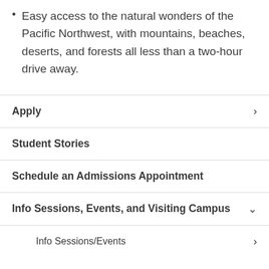Easy access to the natural wonders of the Pacific Northwest, with mountains, beaches, deserts, and forests all less than a two-hour drive away.
Apply
Student Stories
Schedule an Admissions Appointment
Info Sessions, Events, and Visiting Campus
Info Sessions/Events